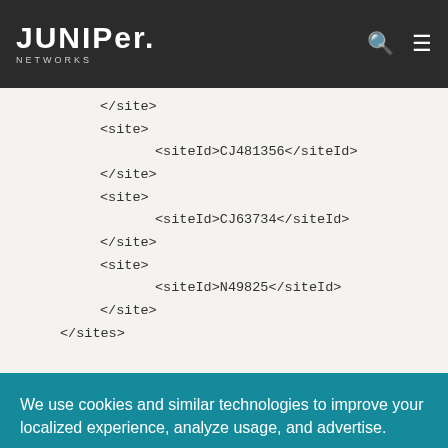Juniper Networks
</site>
<site>
    <siteId>CJ481356</siteId>
</site>
<site>
    <siteId>CJ63734</siteId>
</site>
<site>
    <siteId>N49825</siteId>
</site>
</sites>
We use cookies and similar technologies to improve your localized experience, analyze usage, and advertise.
Privacy Policy
OK
Cookie Settings